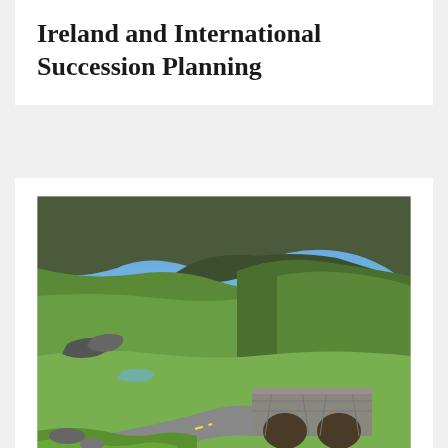Ireland and International Succession Planning
[Figure (photo): Scenic Irish countryside landscape showing a winding mountain road with a stone arch bridge, green hillsides, and blue sky with clouds.]